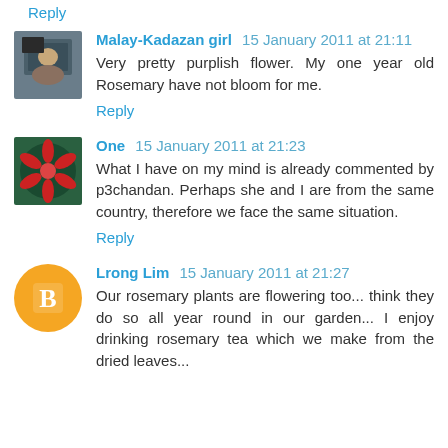Reply
Malay-Kadazan girl  15 January 2011 at 21:11
Very pretty purplish flower. My one year old Rosemary have not bloom for me.
Reply
One  15 January 2011 at 21:23
What I have on my mind is already commented by p3chandan. Perhaps she and I are from the same country, therefore we face the same situation.
Reply
Lrong Lim  15 January 2011 at 21:27
Our rosemary plants are flowering too... think they do so all year round in our garden... I enjoy drinking rosemary tea which we make from the dried leaves...